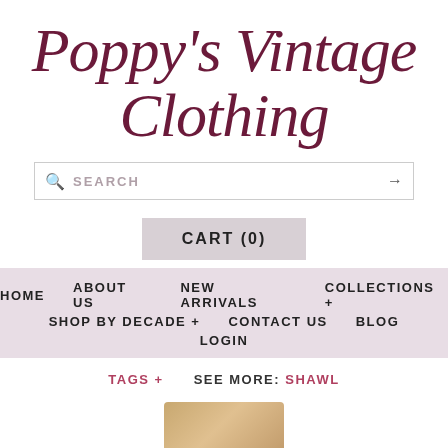Poppy's Vintage Clothing
SEARCH →
CART (0)
HOME   ABOUT US   NEW ARRIVALS   COLLECTIONS +   SHOP BY DECADE +   CONTACT US   BLOG   LOGIN
TAGS +   SEE MORE: SHAWL
[Figure (photo): Partial product image at bottom of page]